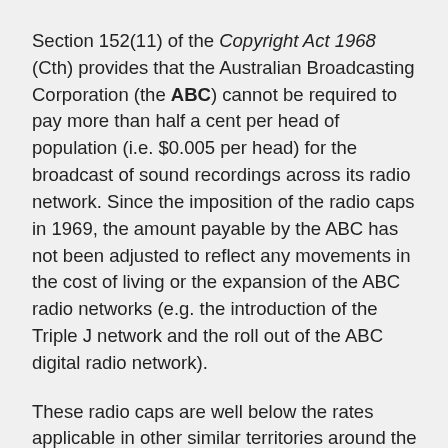Section 152(11) of the Copyright Act 1968 (Cth) provides that the Australian Broadcasting Corporation (the ABC) cannot be required to pay more than half a cent per head of population (i.e. $0.005 per head) for the broadcast of sound recordings across its radio network. Since the imposition of the radio caps in 1969, the amount payable by the ABC has not been adjusted to reflect any movements in the cost of living or the expansion of the ABC radio networks (e.g. the introduction of the Triple J network and the roll out of the ABC digital radio network).
These radio caps are well below the rates applicable in other similar territories around the world (including the UK and NZ) and unfairly limit the amounts paid to artists by radio broadcasters. Further facts about these caps and its effect and key arguments about why the caps should be removed are set out below.